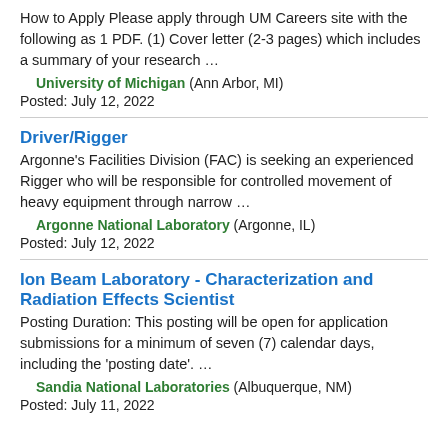How to Apply Please apply through UM Careers site with the following as 1 PDF. (1) Cover letter (2-3 pages) which includes a summary of your research …
University of Michigan (Ann Arbor, MI)
Posted: July 12, 2022
Driver/Rigger
Argonne's Facilities Division (FAC) is seeking an experienced Rigger who will be responsible for controlled movement of heavy equipment through narrow …
Argonne National Laboratory (Argonne, IL)
Posted: July 12, 2022
Ion Beam Laboratory - Characterization and Radiation Effects Scientist
Posting Duration: This posting will be open for application submissions for a minimum of seven (7) calendar days, including the 'posting date'. …
Sandia National Laboratories (Albuquerque, NM)
Posted: July 11, 2022